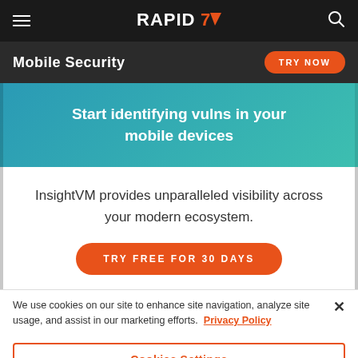RAPID7 (logo) — navigation bar with hamburger menu and search icon
Mobile Security — TRY NOW
Start identifying vulns in your mobile devices
InsightVM provides unparalleled visibility across your modern ecosystem.
TRY FREE FOR 30 DAYS
We use cookies on our site to enhance site navigation, analyze site usage, and assist in our marketing efforts.  Privacy Policy
Cookies Settings